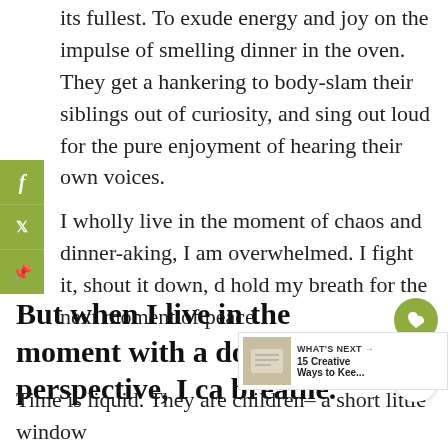its fullest. To exude energy and joy on the impulse of smelling dinner in the oven. They get a hankering to body-slam their siblings out of curiosity, and sing out loud for the pure enjoyment of hearing their own voices.
I wholly live in the moment of chaos and dinner-aking, I am overwhelmed. I fight it, shout it down, d hold my breath for the next moment of peace.
But when I live in the moment with a dose of perspective, I ca breathe.
Time is liquid. They are children– a short little window